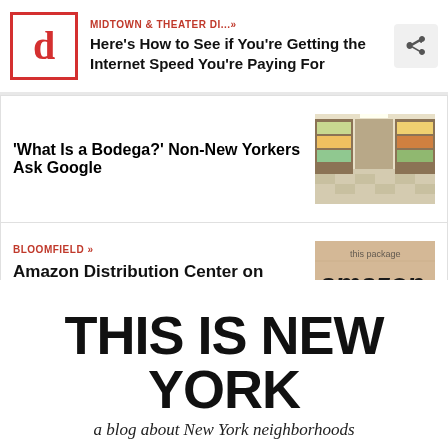MIDTOWN & THEATER DI...» Here's How to See if You're Getting the Internet Speed You're Paying For
'What Is a Bodega?' Non-New Yorkers Ask Google
[Figure (photo): Interior of a bodega/corner store with shelves of products]
BLOOMFIELD »
Amazon Distribution Center on Staten Island to Bring 2,250 Full-Time Jobs
[Figure (photo): Amazon logo on a cardboard box/packaging]
THIS IS NEW YORK
a blog about New York neighborhoods